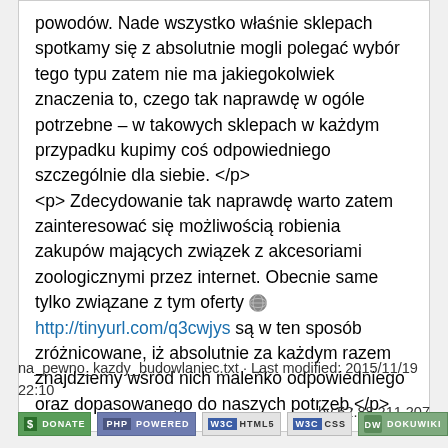powodów. Nade wszystko właśnie sklepach spotkamy się z absolutnie mogli polegać wybór tego typu zatem nie ma jakiegokolwiek znaczenia to, czego tak naprawdę w ogóle potrzebne – w takowych sklepach w każdym przypadku kupimy coś odpowiedniego szczególnie dla siebie. </p> <p> Zdecydowanie tak naprawdę warto zatem zainteresować się możliwością robienia zakupów mających związek z akcesoriami zoologicznymi przez internet. Obecnie same tylko związane z tym oferty http://tinyurl.com/q3cwjys są w ten sposób zróżnicowane, iż absolutnie za każdym razem znajdziemy wśród nich maleńko odpowiedniego oraz dopasowanego do naszych potrzeb.</p>
na_pewno_kazdy_budowlaniec.txt · Last modified: 2015/11/19 22:10 by 52.88.211.207
[Figure (other): Row of five badges: Donate, PHP Powered, WSC HTML5, WSC CSS, DokuWiki]